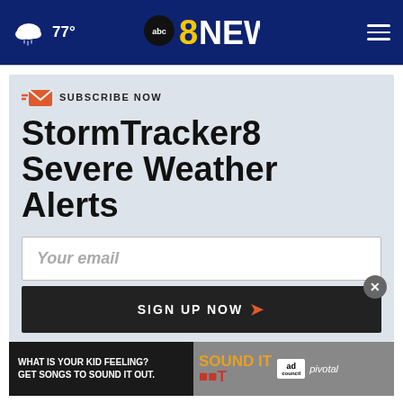77° abc8NEWS
SUBSCRIBE NOW
StormTracker8 Severe Weather Alerts
Your email
SIGN UP NOW
[Figure (other): Ad banner: WHAT IS YOUR KID FEELING? GET SONGS TO SOUND IT OUT. Sound It Out. ad council. pivotal.]